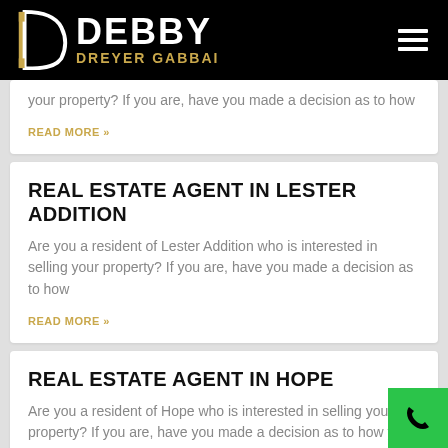DEBBY DREYER GABBAI
your property? If you are, have you made a decision as to how
READ MORE »
REAL ESTATE AGENT IN LESTER ADDITION
Are you a resident of Lester Addition who is interested in selling your property? If you are, have you made a decision as to how
READ MORE »
REAL ESTATE AGENT IN HOPE
Are you a resident of Hope who is interested in selling your property? If you are, have you made a decision as to how you